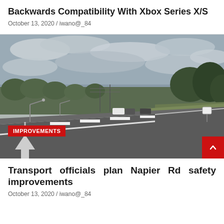Backwards Compatibility With Xbox Series X/S
October 13, 2020 / iwano@_84
[Figure (photo): A wide multi-lane road with white lane markings, street lights, power lines, trees in the background, and an overcast cloudy sky. A few vehicles visible in the distance. An IMPROVEMENTS badge overlays the bottom-left of the image.]
Transport officials plan Napier Rd safety improvements
October 13, 2020 / iwano@_84